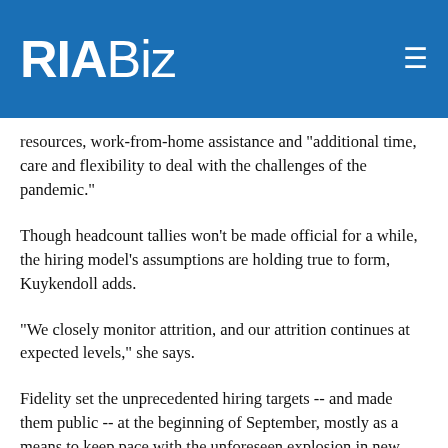RIABiz
resources, work-from-home assistance and "additional time, care and flexibility to deal with the challenges of the pandemic."
Though headcount tallies won't be made official for a while, the hiring model's assumptions are holding true to form, Kuykendoll adds.
"We closely monitor attrition, and our attrition continues at expected levels," she says.
Fidelity set the unprecedented hiring targets -- and made them public -- at the beginning of September, mostly as a means to keep pace with the unforeseen explosion in new account openings, especially by mostly young, active traders who came out of the woodwork.
With all those tailwinds still blowing, Fidelity foresees another large round of hiring this year.